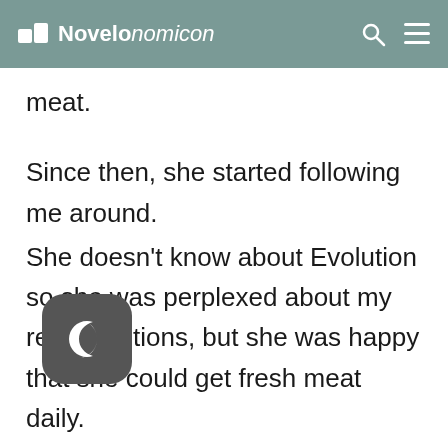Novelonomicon
meat.
Since then, she started following me around.
She doesn't know about Evolution so she was perplexed about my real intentions, but she was happy that she could get fresh meat daily.
Only, if you look closely, you can see that her complexion is better than